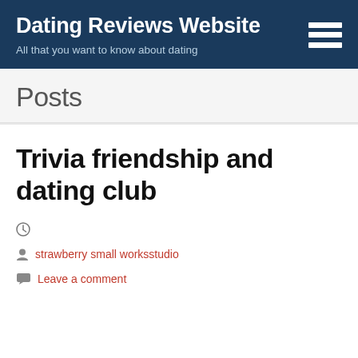Dating Reviews Website — All that you want to know about dating
Posts
Trivia friendship and dating club
(clock icon)
strawberry small worksstudio
Leave a comment